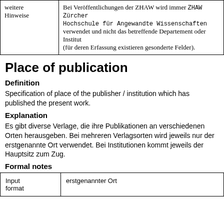| weitere Hinweise |  |
| --- | --- |
| weitere Hinweise | Bei Veröffentlichungen der ZHAW wird immer ZHAW Zürcher Hochschule für Angewandte Wissenschaften verwendet und nicht das betreffende Departement oder Institut (für deren Erfassung existieren gesonderte Felder). |
Place of publication
Definition
Specification of place of the publisher / institution which has published the present work.
Explanation
Es gibt diverse Verlage, die ihre Publikationen an verschiedenen Orten herausgeben. Bei mehreren Verlagsorten wird jeweils nur der erstgenannte Ort verwendet. Bei Institutionen kommt jeweils der Hauptsitz zum Zug.
Formal notes
| Input format |  |
| --- | --- |
| Input format | erstgenannter Ort |